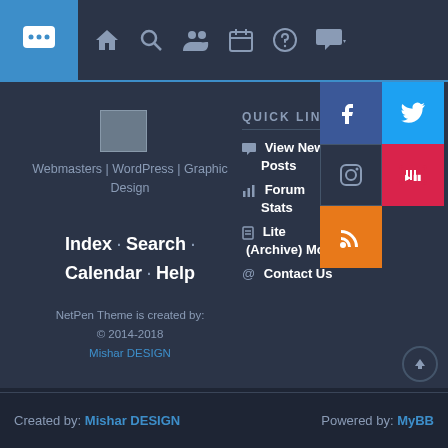Navigation bar with icons: chat, home, search, members, calendar, help, forum
[Figure (screenshot): Broken image placeholder / logo thumbnail]
Webmasters | WordPress | Graphic Design
Index · Search · Calendar · Help
NetPen Theme is created by: © 2014-2018 Mishar DESIGN
QUICK LINKS
View New Posts
Forum Stats
Lite (Archive) Mode
Contact Us
[Figure (infographic): Social media icon grid: Facebook (blue), Twitter (light blue), Instagram (dark), YouTube (red), RSS (orange)]
Created by: Mishar DESIGN    Powered by: MyBB